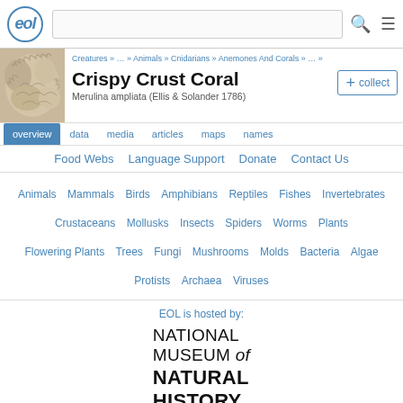EOL - Crispy Crust Coral - Merulina ampliata (Ellis & Solander 1786)
Creatures » … » Animals » Cnidarians » Anemones And Corals » … »
Crispy Crust Coral
Merulina ampliata (Ellis & Solander 1786)
overview  data  media  articles  maps  names
Food Webs   Language Support   Donate   Contact Us
Animals  Mammals  Birds  Amphibians  Reptiles  Fishes  Invertebrates  Crustaceans  Mollusks  Insects  Spiders  Worms  Plants  Flowering Plants  Trees  Fungi  Mushrooms  Molds  Bacteria  Algae  Protists  Archaea  Viruses
EOL is hosted by:
[Figure (logo): National Museum of Natural History Smithsonian logo]
[Figure (photo): Crispy Crust Coral specimen photograph]